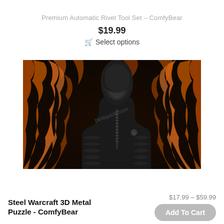Premium Automatic Rivet Tool Set – ComfyBear
$19.99
🛒 Select options
[Figure (photo): Black heated hooded puffer jacket displayed against a dramatic fire/flame background. The jacket is dark/black with chevron quilting pattern, a high collar, and a visible USB heating button on the chest area.]
Steel Warcraft 3D Metal Puzzle - ComfyBear
$17.99 – $59.99
Add To Cart